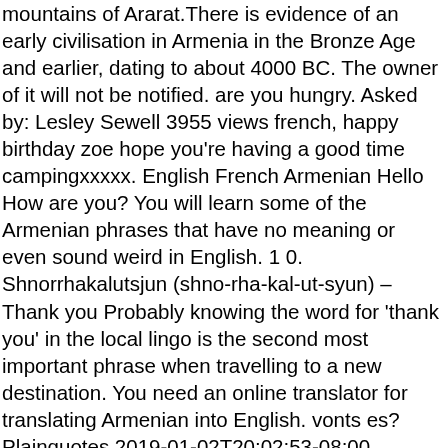mountains of Ararat.There is evidence of an early civilisation in Armenia in the Bronze Age and earlier, dating to about 4000 BC. The owner of it will not be notified. are you hungry. Asked by: Lesley Sewell 3955 views french, happy birthday zoe hope you're having a good time campingxxxxx. English French Armenian Hello How are you? You will learn some of the Armenian phrases that have no meaning or even sound weird in English. 1 0. Shnorrhakalutsjun (shno-rha-kal-ut-syun) – Thank you Probably knowing the word for 'thank you' in the local lingo is the second most important phrase when travelling to a new destination. You need an online translator for translating Armenian into English. vonts es? Plainquotes 2019-01-02T20:02:53-08:00 December 20th, 2018 | armenian translations | 0 Comments But first we need to know what the role of Plural is in the structure of the grammar in Armenian. Armenian (hayeren) is an Indo-European language, forming its own isolated branch within the Indo-European language family. The more you master it the more you get closer to mastering the Armenian language. The owner of it will not be notified. See these phrases in any combination of two languages in the Phrase Finder. If you can provide recordings, corrections or additional translations, please contact me. An informal greeting, not requiring a literal response. զործառnutrientեl ձեr կdelaysabh-tlrեriuldelays-lite – A collection of useful